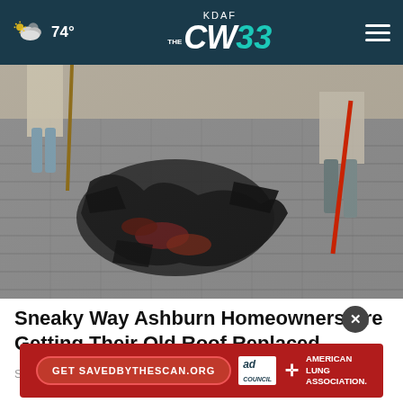KDAF CW33 — 74°
[Figure (photo): Workers removing old shingles/roofing material from a roof, with torn-up dark debris visible]
Sneaky Way Ashburn Homeowners Are Getting Their Old Roof Replaced
Smart
[Figure (other): Ad overlay: Get SAVEDBYTHESCAN.ORG | Ad Council | American Lung Association]